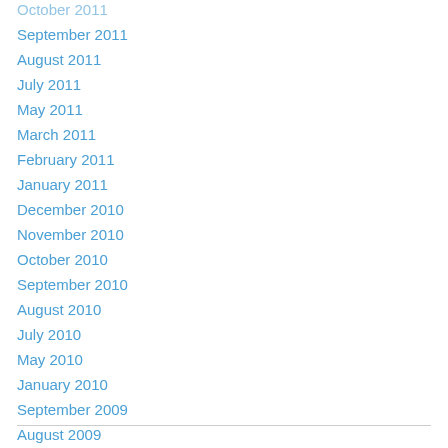October 2011
September 2011
August 2011
July 2011
May 2011
March 2011
February 2011
January 2011
December 2010
November 2010
October 2010
September 2010
August 2010
July 2010
May 2010
January 2010
September 2009
August 2009